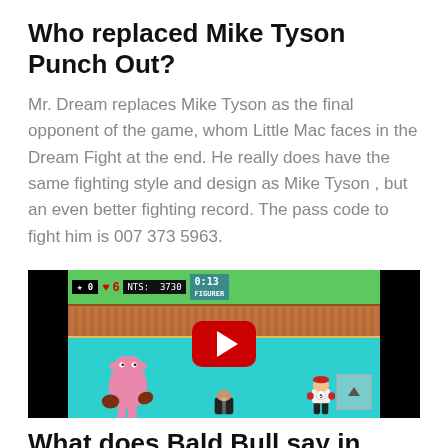Who replaced Mike Tyson Punch Out?
Mr. Dream replaces Mike Tyson as the final opponent of the game, whom Little Mac faces in the Dream Fight at the end. He really does have the same fighting style and design as Mike Tyson , but an even better fighting record. The pass code to fight him is 007 373 5963.
[Figure (screenshot): YouTube video thumbnail showing a Punch-Out!! NES game screenshot with a pink character (Mr. Dream/Mr. Sandman) in a boxing ring against Little Mac, with a YouTube play button overlay. HUD shows star: 0, hearts: 6, PTS: 3730, timer: 0:13]
What does Bald Bull say in Punch Out?